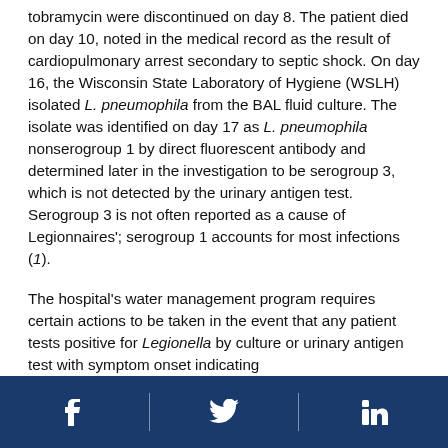tobramycin were discontinued on day 8. The patient died on day 10, noted in the medical record as the result of cardiopulmonary arrest secondary to septic shock. On day 16, the Wisconsin State Laboratory of Hygiene (WSLH) isolated L. pneumophila from the BAL fluid culture. The isolate was identified on day 17 as L. pneumophila nonserogroup 1 by direct fluorescent antibody and determined later in the investigation to be serogroup 3, which is not detected by the urinary antigen test. Serogroup 3 is not often reported as a cause of Legionnaires'; serogroup 1 accounts for most infections (1).
The hospital's water management program requires certain actions to be taken in the event that any patient tests positive for Legionella by culture or urinary antigen test with symptom onset indicating
Facebook | Twitter | LinkedIn